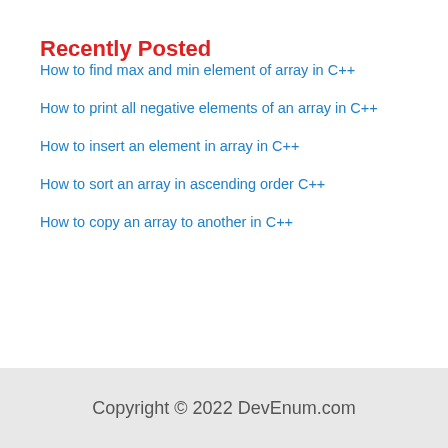Recently Posted
How to find max and min element of array in C++
How to print all negative elements of an array in C++
How to insert an element in array in C++
How to sort an array in ascending order C++
How to copy an array to another in C++
Copyright © 2022 DevEnum.com